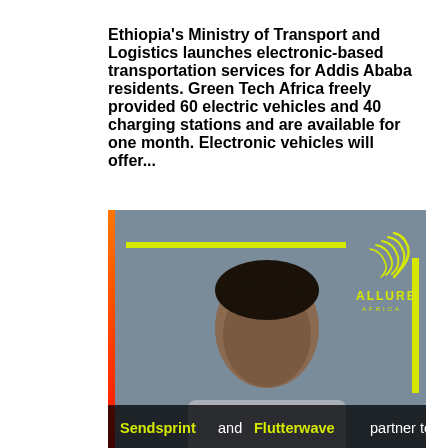Ethiopia's Ministry of Transport and Logistics launches electronic-based transportation services for Addis Ababa residents. Green Tech Africa freely provided 60 electric vehicles and 40 charging stations and are available for one month. Electronic vehicles will offer...
[Figure (photo): A woman in a grey t-shirt against a dark grey background, framed with orange/red left border bar, yellow horizontal top bar, yellow right vertical bar, and Allure Africa logo in the top right. Bottom overlay text reads: Sendsprint and Flutterwave partner to]